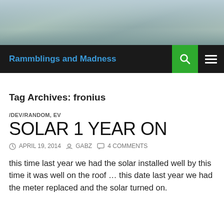[Figure (photo): Header photo showing outdoor scene, likely a parking lot or street scene with trees and sky]
Rammblings and Madness
Tag Archives: fronius
/DEV/RANDOM, EV
SOLAR 1 YEAR ON
APRIL 19, 2014   GABZ   4 COMMENTS
this time last year we had the solar installed well by this time it was well on the roof … this date last year we had the meter replaced and the solar turned on.